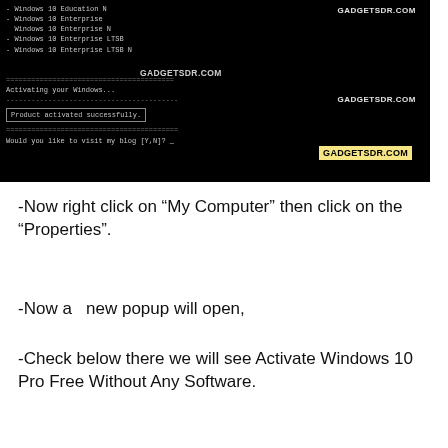[Figure (screenshot): Command prompt screenshot showing Windows 10 activation script output with watermarks 'GADGETSDR.COM'. Shows list of Windows 10 editions, 'Activating your Windows...', 'Product activated successfully.' in a highlighted box, separator lines, and prompt 'Would you like to visit my blog [Y,N]?']
-Now right click on “My Computer” then click on the “Properties”.
-Now a  new popup will open,
-Check below there we will see Activate Windows 10 Pro Free Without Any Software.